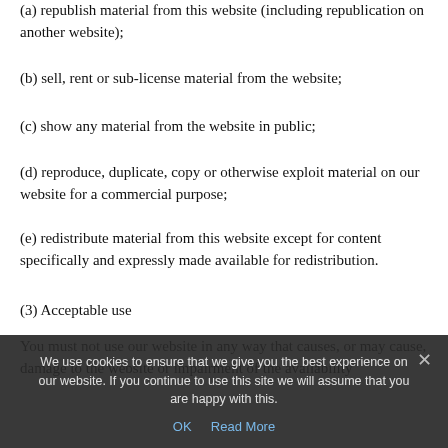(a) republish material from this website (including republication on another website);
(b) sell, rent or sub-license material from the website;
(c) show any material from the website in public;
(d) reproduce, duplicate, copy or otherwise exploit material on our website for a commercial purpose;
(e) redistribute material from this website except for content specifically and expressly made available for redistribution.
(3) Acceptable use
You must not use our website in any way that causes, or may cause, damage to the website or impairment of the availability
We use cookies to ensure that we give you the best experience on our website. If you continue to use this site we will assume that you are happy with this.
OK   Read More